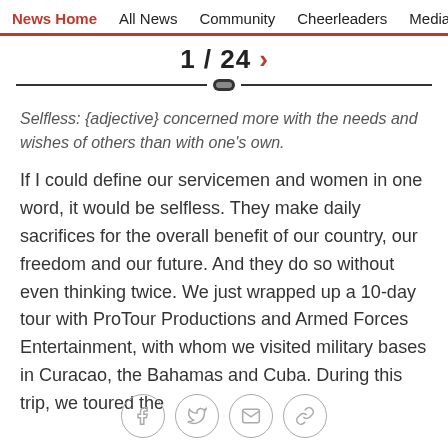News Home  All News  Community  Cheerleaders  Media Room
1 / 24 >
Selfless: {adjective} concerned more with the needs and wishes of others than with one's own.
If I could define our servicemen and women in one word, it would be selfless. They make daily sacrifices for the overall benefit of our country, our freedom and our future. And they do so without even thinking twice. We just wrapped up a 10-day tour with ProTour Productions and Armed Forces Entertainment, with whom we visited military bases in Curacao, the Bahamas and Cuba. During this trip, we toured the